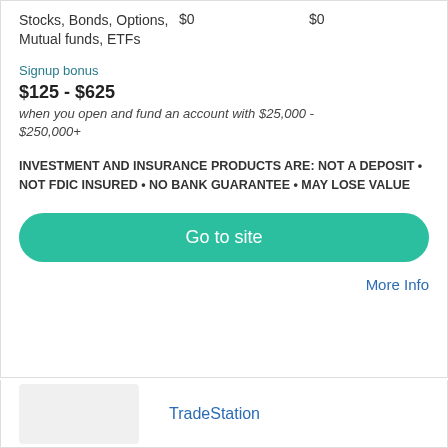Stocks, Bonds, Options, Mutual funds, ETFs    $0    $0
Signup bonus
$125 - $625
when you open and fund an account with $25,000 - $250,000+
INVESTMENT AND INSURANCE PRODUCTS ARE: NOT A DEPOSIT • NOT FDIC INSURED • NO BANK GUARANTEE • MAY LOSE VALUE
Go to site
More Info
TradeStation